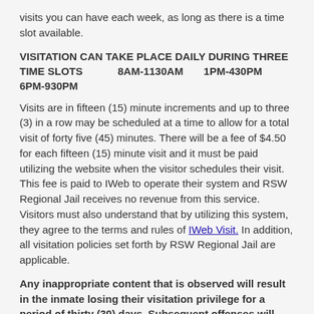visits you can have each week, as long as there is a time slot available.
VISITATION CAN TAKE PLACE DAILY DURING THREE TIME SLOTS    8AM-1130AM    1PM-430PM    6PM-930PM
Visits are in fifteen (15) minute increments and up to three (3) in a row may be scheduled at a time to allow for a total visit of forty five (45) minutes. There will be a fee of $4.50 for each fifteen (15) minute visit and it must be paid utilizing the website when the visitor schedules their visit. This fee is paid to IWeb to operate their system and RSW Regional Jail receives no revenue from this service. Visitors must also understand that by utilizing this system, they agree to the terms and rules of IWeb Visit. In addition, all visitation policies set forth by RSW Regional Jail are applicable.
Any inappropriate content that is observed will result in the inmate losing their visitation privilege for a period of thirty (30) days. Subsequent offenses will result in a loss of visitation for a period of sixty (60) and then (90) days.